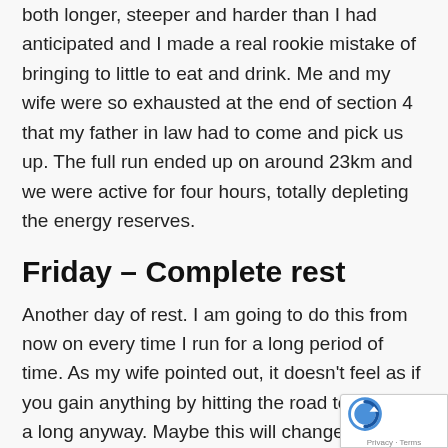both longer, steeper and harder than I had anticipated and I made a real rookie mistake of bringing to little to eat and drink. Me and my wife were so exhausted at the end of section 4 that my father in law had to come and pick us up. The full run ended up on around 23km and we were active for four hours, totally depleting the energy reserves.
Friday – Complete rest
Another day of rest. I am going to do this from now on every time I run for a long period of time. As my wife pointed out, it doesn't feel as if you gain anything by hitting the road to close to a long anyway. Maybe this will change, but for now, this